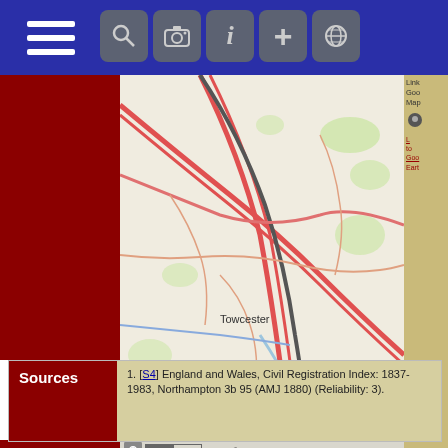[Figure (screenshot): Mobile app navigation bar with hamburger menu on left and icons (search, camera, info, plus, globe) on right, dark blue background]
[Figure (map): OpenStreetMap showing area around Towcester and Newport in England/Wales with roads, green areas, and town labels]
© OpenStreetMap contributors.
Sources
[S4] England and Wales, Civil Registration Index: 1837-1983, Northampton 3b 95 (AMJ 1880) (Reliability: 3).